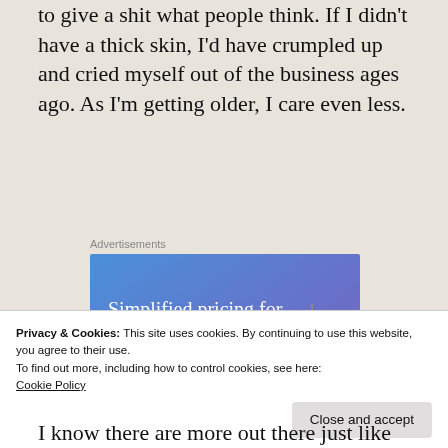to give a shit what people think. If I didn't have a thick skin, I'd have crumpled up and cried myself out of the business ages ago. As I'm getting older, I care even less.
Advertisements
[Figure (other): Advertisement banner with blue-to-purple gradient background, white serif text reading 'Simplified pricing for everything you need.', a pink 'Build Your Website' button, and a tan price tag image on the right.]
Privacy & Cookies: This site uses cookies. By continuing to use this website, you agree to their use.
To find out more, including how to control cookies, see here:
Cookie Policy
Close and accept
I know there are more out there just like me